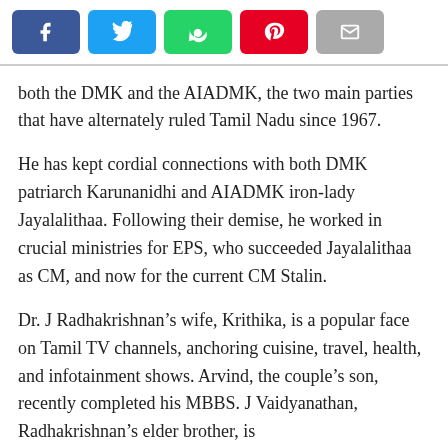[Figure (other): Social sharing buttons: Facebook (blue), Twitter (light blue), WhatsApp (green), Pinterest (red), Email (grey)]
both the DMK and the AIADMK, the two main parties that have alternately ruled Tamil Nadu since 1967.
He has kept cordial connections with both DMK patriarch Karunanidhi and AIADMK iron-lady Jayalalithaa. Following their demise, he worked in crucial ministries for EPS, who succeeded Jayalalithaa as CM, and now for the current CM Stalin.
Dr. J Radhakrishnan’s wife, Krithika, is a popular face on Tamil TV channels, anchoring cuisine, travel, health, and infotainment shows. Arvind, the couple’s son, recently completed his MBBS. J Vaidyanathan, Radhakrishnan’s elder brother, is